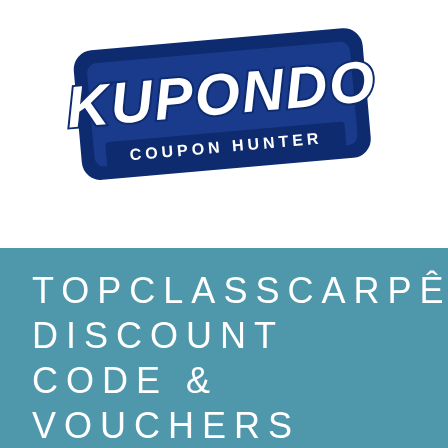[Figure (logo): Kupondo Coupon Hunter logo — bold white italic text 'KUPONDO' with dark navy blue outline/border on a skewed rectangular badge shape, with 'COUPON HUNTER' text below in white on a dark navy bar]
TOPCLASSCARPÊN DISCOUNT CODE & VOUCHERS